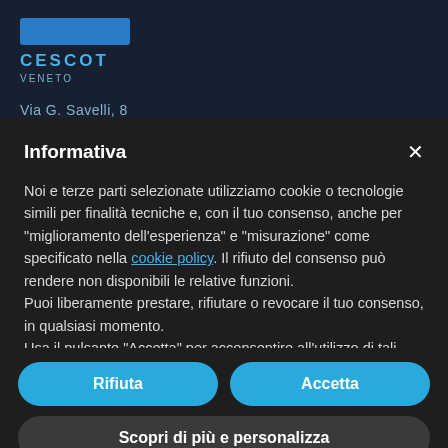[Figure (screenshot): Cescot Veneto website header showing logo text 'CESCOT VENETO' and partial address 'Via G. Savelli, 8' on dark navy background]
Informativa
Noi e terze parti selezionate utilizziamo cookie o tecnologie simili per finalità tecniche e, con il tuo consenso, anche per "miglioramento dell'esperienza" e "misurazione" come specificato nella cookie policy. Il rifiuto del consenso può rendere non disponibili le relative funzioni.
Puoi liberamente prestare, rifiutare o revocare il tuo consenso, in qualsiasi momento.
Usa il pulsante "Accetta" per acconsentire all'utilizzo di tali tecnologie. Usa il pulsante "Rifiuta" o chiudi questa informativa per continuare senza accettare.
Rifiuta
Accetta
Scopri di più e personalizza